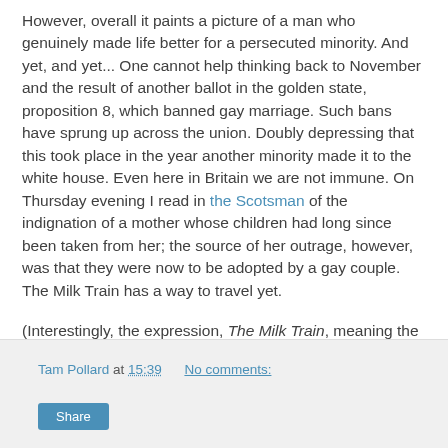However, overall it paints a picture of a man who genuinely made life better for a persecuted minority. And yet, and yet... One cannot help thinking back to November and the result of another ballot in the golden state, proposition 8, which banned gay marriage. Such bans have sprung up across the union. Doubly depressing that this took place in the year another minority made it to the white house. Even here in Britain we are not immune. On Thursday evening I read in the Scotsman of the indignation of a mother whose children had long since been taken from her; the source of her outrage, however, was that they were now to be adopted by a gay couple. The Milk Train has a way to travel yet.
(Interestingly, the expression, The Milk Train, meaning the movement Milk spawned in his campaigns, and which forms the basis of a big number in the opera, finds no mention in the film.)
Tam Pollard at 15:39   No comments: